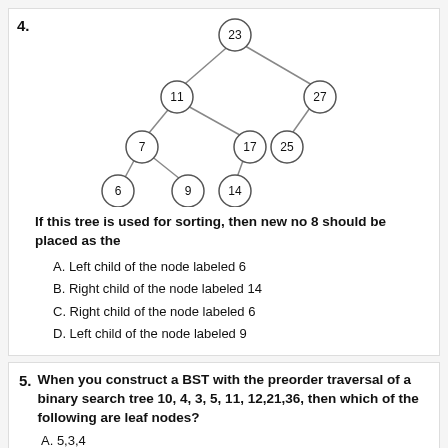[Figure (other): Binary Search Tree diagram with nodes: 23 (root), 11 (left child of 23), 27 (right child of 23), 7 (left child of 11), 17 (right child of 11), 25 (left child of 27), 6 (left child of 7), 9 (right child of 7), 14 (left child of 17)]
If this tree is used for sorting, then new no 8 should be placed as the
A. Left child of the node labeled 6
B. Right child of the node labeled 14
C. Right child of the node labeled 6
D. Left child of the node labeled 9
5. When you construct a BST with the preorder traversal of a binary search tree 10, 4, 3, 5, 11, 12,21,36, then which of the following are leaf nodes?
A. 5,3,4
B. 5,3,12